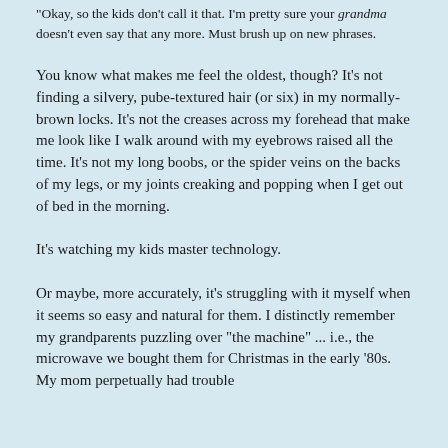"Okay, so the kids don't call it that. I'm pretty sure your grandma doesn't even say that any more. Must brush up on new phrases.
You know what makes me feel the oldest, though? It's not finding a silvery, pube-textured hair (or six) in my normally-brown locks. It's not the creases across my forehead that make me look like I walk around with my eyebrows raised all the time. It's not my long boobs, or the spider veins on the backs of my legs, or my joints creaking and popping when I get out of bed in the morning.
It's watching my kids master technology.
Or maybe, more accurately, it's struggling with it myself when it seems so easy and natural for them. I distinctly remember my grandparents puzzling over "the machine" ... i.e., the microwave we bought them for Christmas in the early '80s. My mom perpetually had trouble